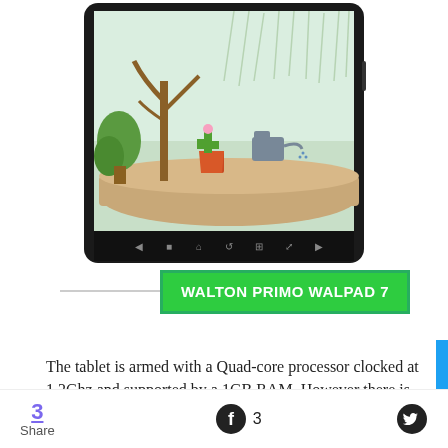[Figure (photo): Walton Primo Walpad 7 Android tablet showing a garden illustration on its screen, with a black bezel and navigation bar at the bottom]
WALTON PRIMO WALPAD 7
The tablet is armed with a Quad-core processor clocked at 1.2Ghz and supported by a 1GB RAM. However there is no mention of the brand they are
3 Share   3 (Facebook)   (Twitter)